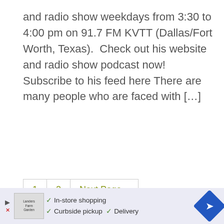and radio show weekdays from 3:30 to 4:00 pm on 91.7 FM KVTT (Dallas/Fort Worth, Texas).  Check out his website and radio show podcast now! Subscribe to his feed here There are many people who are faced with […]
1
2
Next Page »
Search this website
Search
[Figure (screenshot): Google Maps ad banner showing In-store shopping, Curbside pickup, Delivery options with store logo and navigation arrow icon]